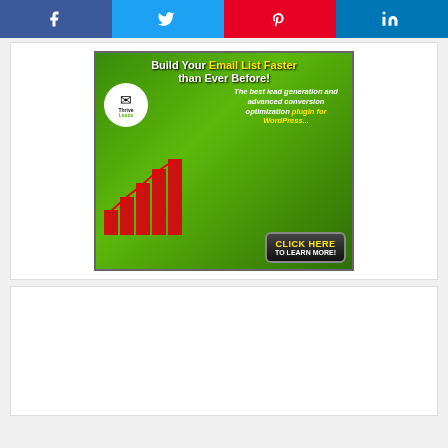[Figure (infographic): Social share buttons bar with Facebook, Twitter, Pinterest, LinkedIn buttons]
[Figure (infographic): Thrive Leads advertisement banner: Build Your Email List Faster than Ever Before! The best lead generation and advanced conversion optimization plugin for WordPress... CLICK HERE TO LEARN MORE!]
[Figure (other): Empty white card/advertisement placeholder box]